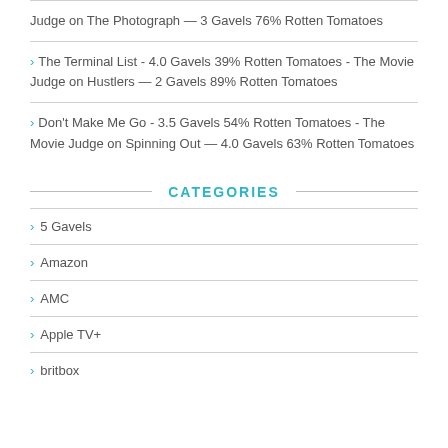Judge on The Photograph — 3 Gavels 76% Rotten Tomatoes
The Terminal List - 4.0 Gavels 39% Rotten Tomatoes - The Movie Judge on Hustlers — 2 Gavels 89% Rotten Tomatoes
Don't Make Me Go - 3.5 Gavels 54% Rotten Tomatoes - The Movie Judge on Spinning Out — 4.0 Gavels 63% Rotten Tomatoes
CATEGORIES
5 Gavels
Amazon
AMC
Apple TV+
britbox